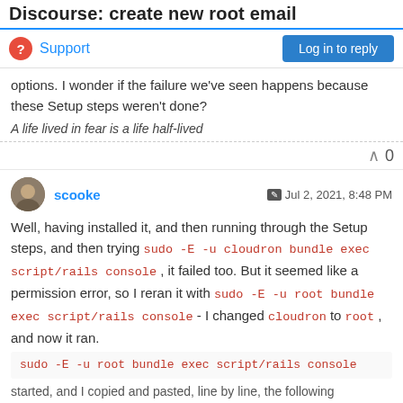Discourse: create new root email
Support
Log in to reply
options. I wonder if the failure we've seen happens because these Setup steps weren't done?
A life lived in fear is a life half-lived
0
scooke  Jul 2, 2021, 8:48 PM
Well, having installed it, and then running through the Setup steps, and then trying sudo -E -u cloudron bundle exec script/rails console , it failed too. But it seemed like a permission error, so I reran it with sudo -E -u root bundle exec script/rails console - I changed cloudron to root , and now it ran.
sudo -E -u root bundle exec script/rails console
started, and I copied and pasted, line by line, the following